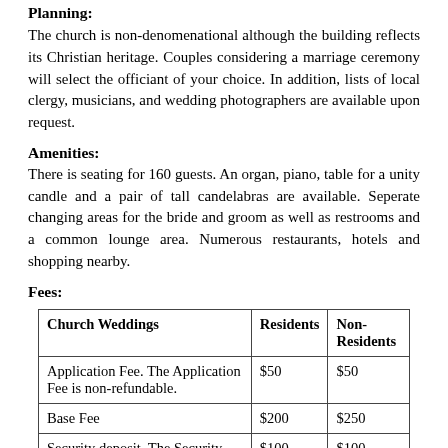Planning:
The church is non-denomenational although the building reflects its Christian heritage. Couples considering a marriage ceremony will select the officiant of your choice. In addition, lists of local clergy, musicians, and wedding photographers are available upon request.
Amenities:
There is seating for 160 guests. An organ, piano, table for a unity candle and a pair of tall candelabras are available. Seperate changing areas for the bride and groom as well as restrooms and a common lounge area. Numerous restaurants, hotels and shopping nearby.
Fees:
| Church Weddings | Residents | Non-Residents |
| --- | --- | --- |
| Application Fee. The Application Fee is non-refundable. | $50 | $50 |
| Base Fee | $200 | $250 |
| Security deposit. The Security Deposit is conditionally refunded after the wedding. | $100 | $100 |